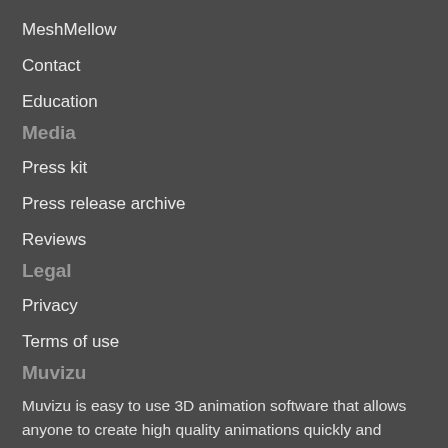MeshMellow
Contact
Education
Media
Press kit
Press release archive
Reviews
Legal
Privacy
Terms of use
Muvizu
Muvizu is easy to use 3D animation software that allows anyone to create high quality animations quickly and easily. Muvizu's animation engine is ideal for storytellers, animators, teachers and businesses looking to engage, enchant and delight audiences with animated content.